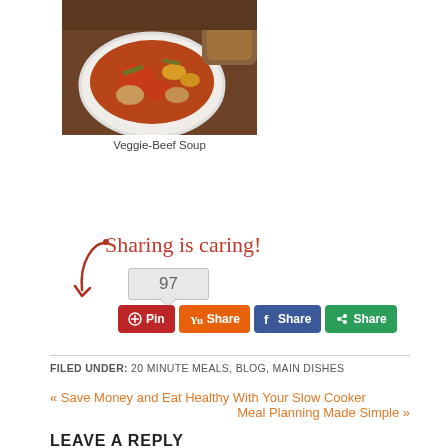[Figure (photo): Bowl of Veggie-Beef Soup with tomatoes, corn, green beans, potatoes in broth, with bread in background]
Veggie-Beef Soup
Sharing is caring!
97
Pin  Share  Share  Share
FILED UNDER: 20 MINUTE MEALS, BLOG, MAIN DISHES
« Save Money and Eat Healthy With Your Slow Cooker
Meal Planning Made Simple »
LEAVE A REPLY